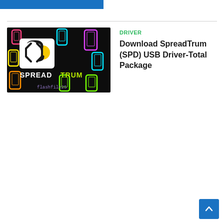[Figure (other): Blue banner/header strip at top of page]
[Figure (illustration): SpreadTrum logo image on dark background with colorful mobile phone outlines and text 'SPREADTRUM' and 'flashfile25']
DRIVER
Download SpreadTrum (SPD) USB Driver-Total Package